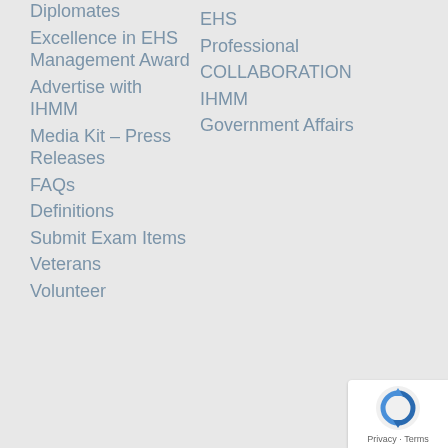Diplomates
Excellence in EHS Management Award
Advertise with IHMM
Media Kit – Press Releases
FAQs
Definitions
Submit Exam Items
Veterans
Volunteer
EHS Professional
COLLABORATION
IHMM
Government Affairs
[Figure (logo): reCAPTCHA badge with Privacy and Terms text]